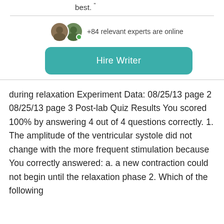best. "
[Figure (other): Two avatar profile pictures and green online indicator dot with text '+84 relevant experts are online']
[Figure (other): Teal 'Hire Writer' button]
during relaxation Experiment Data: 08/25/13 page 2 08/25/13 page 3 Post-lab Quiz Results You scored 100% by answering 4 out of 4 questions correctly. 1. The amplitude of the ventricular systole did not change with the more frequent stimulation because You correctly answered: a. a new contraction could not begin until the relaxation phase 2. Which of the following